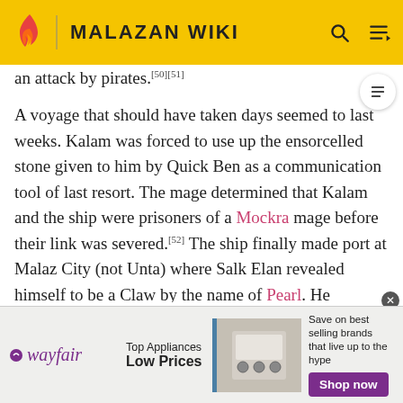MALAZAN WIKI
an attack by pirates.[50][51]
A voyage that should have taken days seemed to last weeks. Kalam was forced to use up the ensorcelled stone given to him by Quick Ben as a communication tool of last resort. The mage determined that Kalam and the ship were prisoners of a Mockra mage before their link was severed.[52] The ship finally made port at Malaz City (not Unta) where Salk Elan revealed himself to be a Claw by the name of Pearl. He paralyzed the assassin with his mind magic, before stabbing him in the side and tossing him overboard.[53]
[Figure (other): Wayfair advertisement banner: Top Appliances Low Prices, Save on best selling brands that live up to the hype, Shop now button]